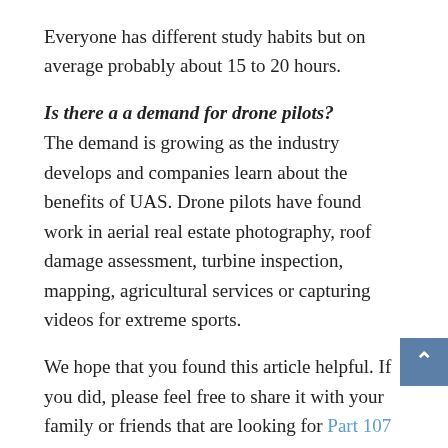Everyone has different study habits but on average probably about 15 to 20 hours.
Is there a a demand for drone pilots?
The demand is growing as the industry develops and companies learn about the benefits of UAS. Drone pilots have found work in aerial real estate photography, roof damage assessment, turbine inspection, mapping, agricultural services or capturing videos for extreme sports.
We hope that you found this article helpful. If you did, please feel free to share it with your family or friends that are looking for Part 107 Test Prep in Batesville. You never know, it could be just what they need to help them pass and get their drone license.